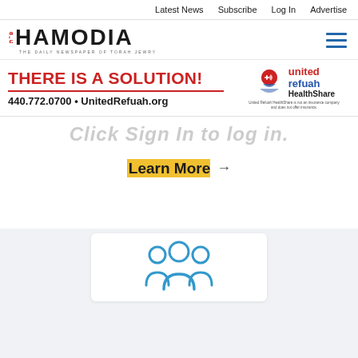Latest News | Subscribe | Log In | Advertise
[Figure (logo): Hamodia newspaper logo with tagline THE DAILY NEWSPAPER OF TORAH JEWRY]
[Figure (infographic): Advertisement: THERE IS A SOLUTION! 440.772.0700 • UnitedRefuah.org with United Refuah HealthShare logo]
Click Sign In to log in.
Learn More →
[Figure (illustration): Group of people icon in blue outline style]